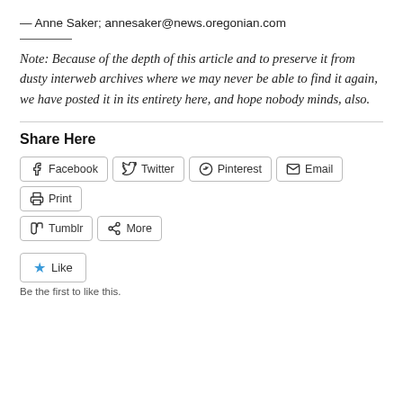— Anne Saker; annesaker@news.oregonian.com
Note: Because of the depth of this article and to preserve it from dusty interweb archives where we may never be able to find it again, we have posted it in its entirety here, and hope nobody minds, also.
Share Here
Facebook  Twitter  Pinterest  Email  Print  Tumblr  More
Like
Be the first to like this.